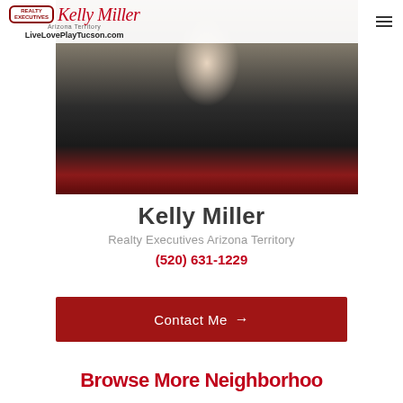Realty Executives Kelly Miller — Arizona Territory — LiveLovePlayTucson.com
[Figure (photo): Professional photo of Kelly Miller, a real estate agent, wearing a black top and red pants, posed against a wall]
Kelly Miller
Realty Executives Arizona Territory
(520) 631-1229
Contact Me →
Browse More Neighborhoods